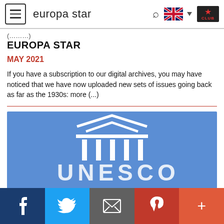europa star
EUROPA STAR
MAY 2021
If you have a subscription to our digital archives, you may have noticed that we have now uploaded new sets of issues going back as far as the 1930s: more (...)
[Figure (logo): UNESCO logo — blue background with white architectural temple/column graphic and UNESCO text]
f  t  [email]  p  +